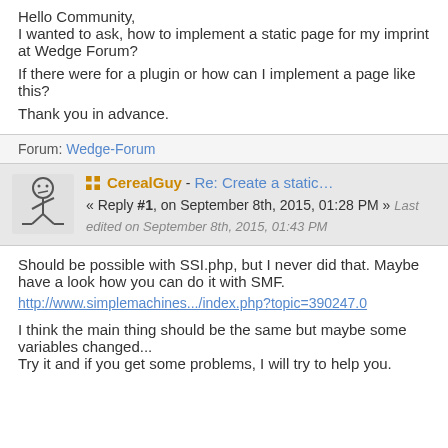Hello Community,
I wanted to ask, how to implement a static page for my imprint at Wedge Forum?

If there were for a plugin or how can I implement a page like this?

Thank you in advance.
Forum: Wedge-Forum
CerealGuy - Re: Create a static… « Reply #1, on September 8th, 2015, 01:28 PM » Last edited on September 8th, 2015, 01:43 PM
Should be possible with SSI.php, but I never did that. Maybe have a look how you can do it with SMF.
http://www.simplemachines.../index.php?topic=390247.0

I think the main thing should be the same but maybe some variables changed...
Try it and if you get some problems, I will try to help you.